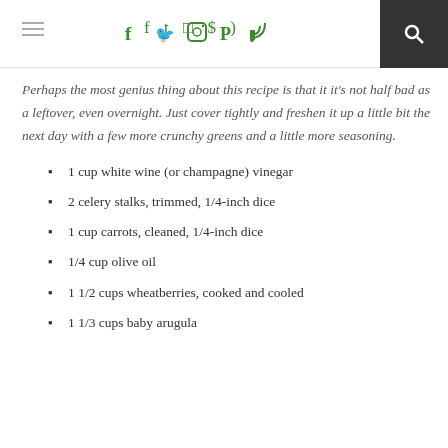Social icons: f, twitter, instagram, pinterest, rss; search button
Perhaps the most genius thing about this recipe is that it it's not half bad as a leftover, even overnight. Just cover tightly and freshen it up a little bit the next day with a few more crunchy greens and a little more seasoning.
1 cup white wine (or champagne) vinegar
2 celery stalks, trimmed, 1/4-inch dice
1 cup carrots, cleaned, 1/4-inch dice
1/4 cup olive oil
1 1/2 cups wheatberries, cooked and cooled
1 1/3 cups baby arugula